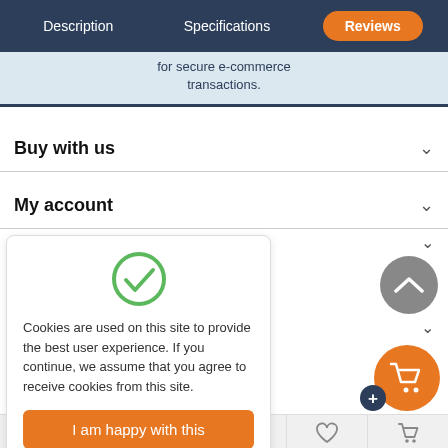Description | Specifications | Reviews
for secure e-commerce transactions.
Buy with us
My account
[Figure (illustration): Green circle checkmark icon]
Cookies are used on this site to provide the best user experience. If you continue, we assume that you agree to receive cookies from this site.
I am happy with this
[Figure (illustration): Gray circle with upward chevron (scroll up button)]
[Figure (illustration): Orange circle with shopping cart icon and dark blue plus badge]
shop for the sale of metal